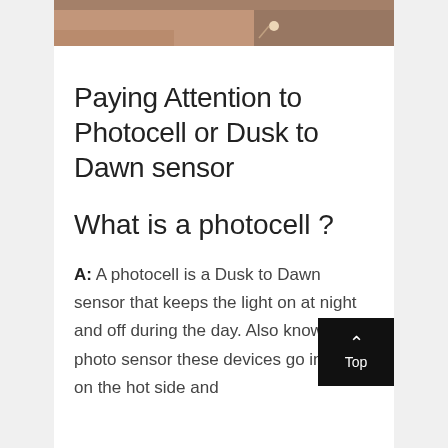[Figure (photo): Partial photo of an object on a beige/tan surface, cropped at the top of the page]
Paying Attention to Photocell or Dusk to Dawn sensor
What is a photocell ?
A: A photocell is a Dusk to Dawn sensor that keeps the light on at night and off during the day. Also known as a photo sensor these devices go in line on the hot side and